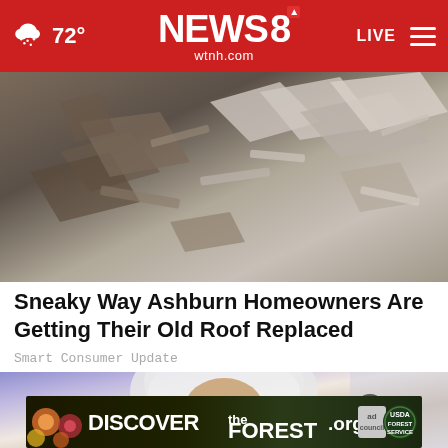NEWS 8 wtnh.com | 72° | LIVE
[Figure (photo): Damaged roof with broken shingles and debris scattered around]
Sneaky Way Ashburn Homeowners Are Getting Their Old Roof Replaced
Smart Consumer Update
[Figure (photo): Close-up of a person wearing a white hooded garment, face partially visible]
[Figure (other): Advertisement banner: DISCOVERtheFOREST.org with ad council and US Forest Service logos]